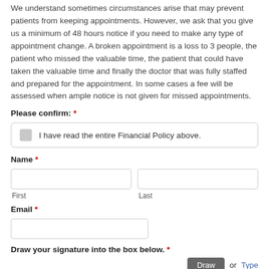We understand sometimes circumstances arise that may prevent patients from keeping appointments. However, we ask that you give us a minimum of 48 hours notice if you need to make any type of appointment change. A broken appointment is a loss to 3 people, the patient who missed the valuable time, the patient that could have taken the valuable time and finally the doctor that was fully staffed and prepared for the appointment. In some cases a fee will be assessed when ample notice is not given for missed appointments.
Please confirm: *
I have read the entire Financial Policy above.
Name *
First
Last
Email *
Draw your signature into the box below. *